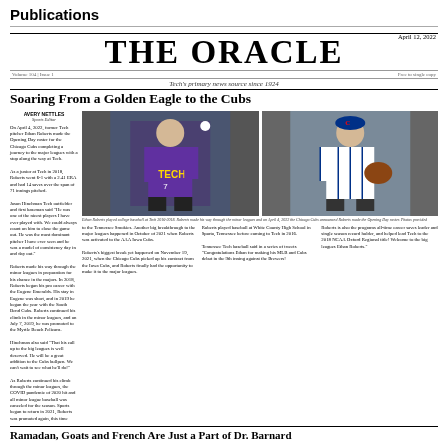Publications
THE ORACLE
April 12, 2022
Volume 104 | Issue 1
Free to single copy
Tech's primary news source since 1924
Soaring From a Golden Eagle to the Cubs
AVERY NETTLES
Sports Editor
On April 4, 2022, former Tech pitcher Ethan Roberts made the Opening Day roster for the Chicago Cubs completing a journey to the major leagues with a stop along the way at Tech. As a junior at Tech in 2018, Roberts went 6-1 with a 2.41 ERA and had 14 saves over the span of 71 innings pitched. Jason Hinchman Tech outfielder and first baseman said "He was one of the nicest players I have ever played with. We could always count on him to close the game out. He was the most dominant pitcher I have ever seen and he was a model of consistency day in and day out." Roberts made his way through the minor leagues in preparation for his chance in the majors. In 2018, Roberts began his pro career with the Eugene Emeralds. His stay in Eugene was short, and in 2019 he began the year with the South Bend Cubs. Roberts continued his climb in the minor leagues, and on July 7, 2019, he was promoted to the Myrtle Beach Pelicans. Hinchman also said "That his call up to the big leagues is well deserved. He will be a great addition to the Cubs bullpen. We can't wait to see what he'll do!" As Roberts continued his climb through the minor leagues, the COVID pandemic of 2020 hit and all minor league baseball was canceled for the season. Sports began to return in 2021, Roberts was promoted again, this time to the Tennessee Smokies. Another big breakthrough to the major leagues happened in October of 2021 when Roberts was activated to the AAA Iowa Cubs. Roberts's biggest break yet happened on November 19, 2021, when the Chicago Cubs picked up his contract from the Iowa Cubs, and Roberts finally had the opportunity to make it to the major leagues. Roberts played baseball at White County High School in Sparta, Tennessee before coming to Tech in 2016. Tennessee Tech baseball said in a series of tweets 'Congratulations Ethan for making his MLB and Cubs debut in the 9th inning against the Brewers! Roberts is also the programs all-time career saves leader and single season record holder, and helped lead Tech to the 2018 NCAA Oxford Regional title! Welcome to the big leagues Ethan Roberts.'
Ethan Roberts played college baseball at Tech 2016-2018. Roberts made his way through the minor leagues and on April 4, 2022 the Chicago Cubs announced Roberts made the Opening Day roster. Photos provided
[Figure (photo): Ethan Roberts pitching in purple Tech uniform #7]
[Figure (photo): Ethan Roberts in Chicago Cubs uniform with glove]
Ramadan, Goats and French Are Just a Part of Dr. Barnard